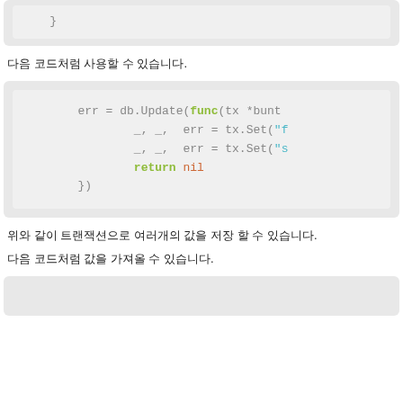[Figure (screenshot): Code snippet showing closing brace in a gray box]
다음 코드처럼 사용할 수 있습니다.
[Figure (screenshot): Code snippet: err = db.Update(func(tx *bunt... with _, _, err = tx.Set lines and return nil]
위와 같이 트랜잭션으로 여러개의 값을 저장 할 수 있습니다.
다음 코드처럼 값을 가져올 수 있습니다.
[Figure (screenshot): Bottom code box (partially visible)]